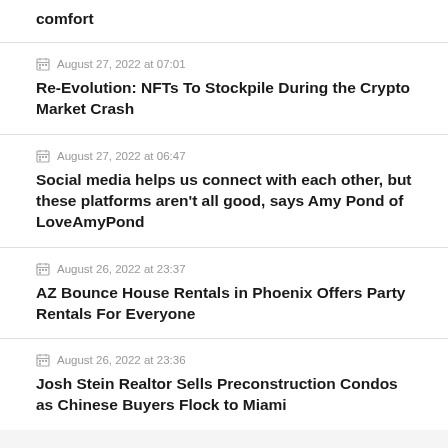comfort
August 27, 2022 at 07:01
Re-Evolution: NFTs To Stockpile During the Crypto Market Crash
August 27, 2022 at 06:47
Social media helps us connect with each other, but these platforms aren't all good, says Amy Pond of LoveAmyPond
August 26, 2022 at 23:37
AZ Bounce House Rentals in Phoenix Offers Party Rentals For Everyone
August 26, 2022 at 23:36
Josh Stein Realtor Sells Preconstruction Condos as Chinese Buyers Flock to Miami